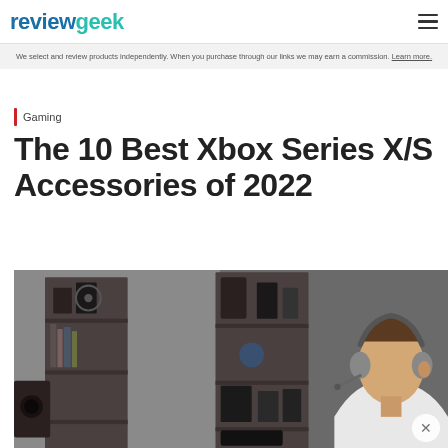reviewgeek
We select and review products independently. When you purchase through our links we may earn a commission. Learn more.
Gaming
The 10 Best Xbox Series X/S Accessories of 2022
[Figure (photo): Hero image showing shelving units with electronics and decor, and a man wearing a gaming headset on the right side.]